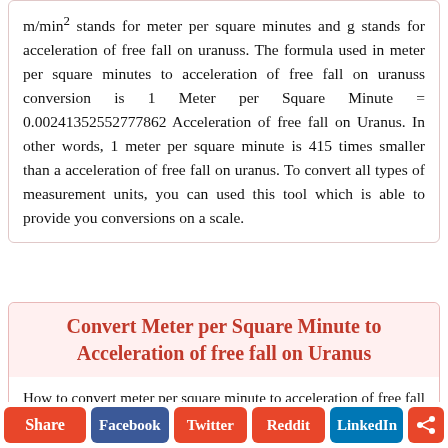m/min² stands for meter per square minutes and g stands for acceleration of free fall on uranuss. The formula used in meter per square minutes to acceleration of free fall on uranuss conversion is 1 Meter per Square Minute = 0.00241352552777862 Acceleration of free fall on Uranus. In other words, 1 meter per square minute is 415 times smaller than a acceleration of free fall on uranus. To convert all types of measurement units, you can used this tool which is able to provide you conversions on a scale.
Convert Meter per Square Minute to Acceleration of free fall on Uranus
How to convert meter per square minute to acceleration of free fall on uranus? In the acceleration measurement, first choose meter per square minute from the left dropdown and acceleration
Share  Facebook  Twitter  Reddit  LinkedIn